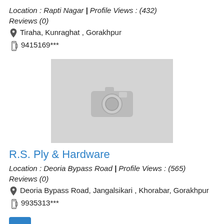Location : Rapti Nagar | Profile Views : (432)
Reviews (0)
Tiraha, Kunraghat , Gorakhpur
9415169***
[Figure (photo): Placeholder image with camera icon on grey background]
R.S. Ply & Hardware
Location : Deoria Bypass Road | Profile Views : (565)
Reviews (0)
Deoria Bypass Road, Jangalsikari , Khorabar, Gorakhpur
9935313***